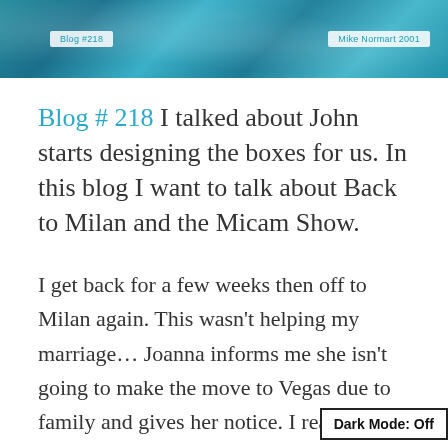[Figure (photo): Blue water/ocean texture banner with two white label boxes: 'Blog #218' on the left and 'Mike Normart 2001' on the right]
Blog # 218 I talked about John starts designing the boxes for us. In this blog I want to talk about Back to Milan and the Micam Show.
I get back for a few weeks then off to Milan again. This wasn't helping my marriage… Joanna informs me she isn't going to make the move to Vegas due to family and gives her notice. I really liked her too. She was professional and had a lot of knowledge